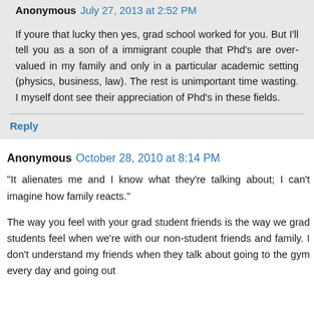Anonymous July 27, 2013 at 2:52 PM
If youre that lucky then yes, grad school worked for you. But I'll tell you as a son of a immigrant couple that Phd's are over-valued in my family and only in a particular academic setting (physics, business, law). The rest is unimportant time wasting. I myself dont see their appreciation of Phd's in these fields.
Reply
Anonymous October 28, 2010 at 8:14 PM
"It alienates me and I know what they're talking about; I can't imagine how family reacts."
The way you feel with your grad student friends is the way we grad students feel when we're with our non-student friends and family. I don't understand my friends when they talk about going to the gym every day and going out